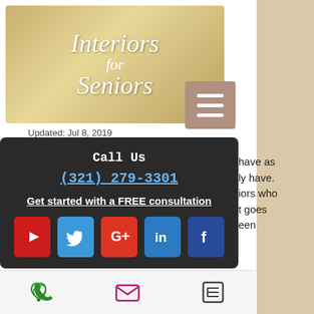[Figure (screenshot): Interiors for Seniors website screenshot showing logo, hamburger menu, call us popup with phone number and social icons, partial article text, and bottom navigation bar.]
Updated: Jul 8, 2019
Call Us
(321) 279-3301
Get started with a FREE consultation
have as
ly have.
iors who
t goes
een
fortunate enough to not be in that group, then listen up.  It may put years on your life and can certainly improve your everyday living.